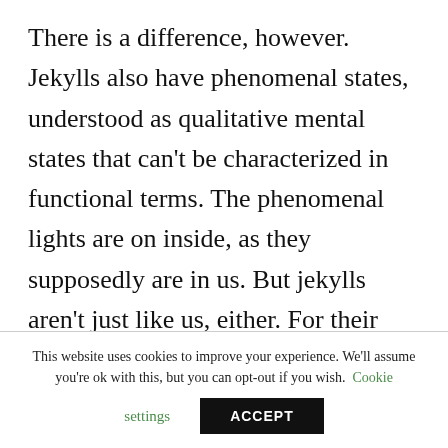There is a difference, however. Jekylls also have phenomenal states, understood as qualitative mental states that can't be characterized in functional terms. The phenomenal lights are on inside, as they supposedly are in us. But jekylls aren't just like us, either. For their phenomenal states are not aligned with their psychological ones. There is a deep incongruity between what they are thinking and feeling
This website uses cookies to improve your experience. We'll assume you're ok with this, but you can opt-out if you wish. Cookie settings ACCEPT